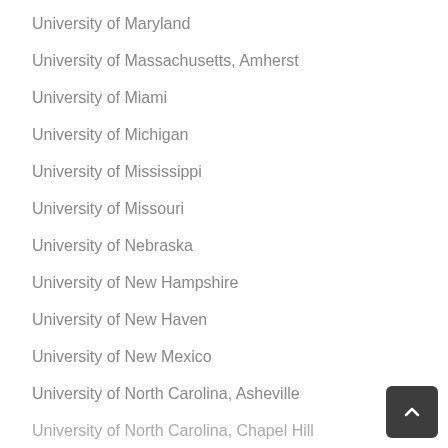University of Maryland
University of Massachusetts, Amherst
University of Miami
University of Michigan
University of Mississippi
University of Missouri
University of Nebraska
University of New Hampshire
University of New Haven
University of New Mexico
University of North Carolina, Asheville
University of North Carolina, Chapel Hill